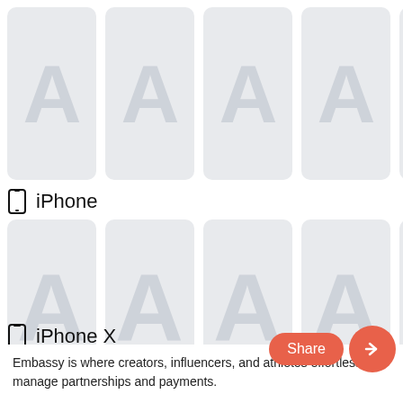[Figure (screenshot): Top row of 4+ app icon placeholder cards with letter A watermark in light gray-blue, partially visible]
iPhone
[Figure (screenshot): Second row of 4+ app icon placeholder cards with letter A watermark in light gray-blue, taller cards]
iPhone X
Embassy is where creators, influencers, and athletes effortlessly manage partnerships and payments.